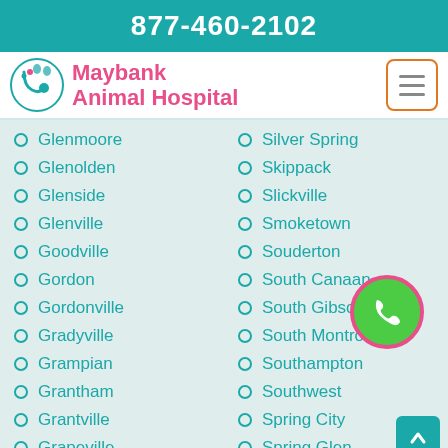877-460-2102
[Figure (logo): Maybank Animal Hospital logo with teal stethoscope and pet icon]
Maybank Animal Hospital
Glenmoore
Glenolden
Glenside
Glenville
Goodville
Gordon
Gordonville
Gradyville
Grampian
Grantham
Grantville
Grapeville
Silver Spring
Skippack
Slickville
Smoketown
Souderton
South Canaan
South Gibson
South Montrose
Southampton
Southwest
Spring City
Spring Glen